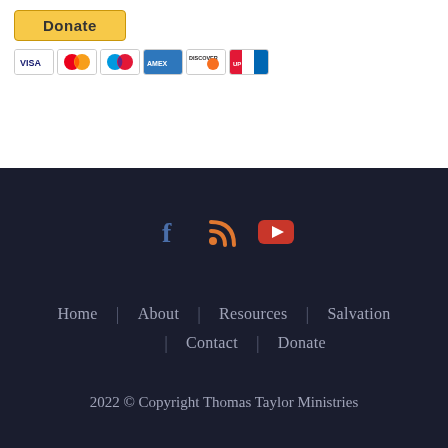[Figure (other): PayPal Donate button (yellow) with text 'Donate']
[Figure (other): Row of payment card icons: Visa, Mastercard, Maestro, American Express, Discover, UnionPay]
[Figure (other): Social media icons: Facebook (blue f), RSS (orange wifi-like), YouTube (red play button)]
Home | About | Resources | Salvation | Contact | Donate
2022 © Copyright Thomas Taylor Ministries